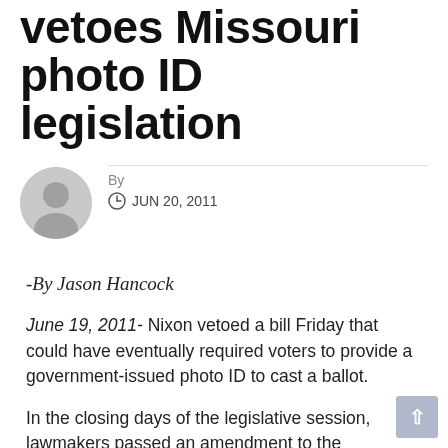vetoes Missouri photo ID legislation
By
JUN 20, 2011
-By Jason Hancock
June 19, 2011- Nixon vetoed a bill Friday that could have eventually required voters to provide a government-issued photo ID to cast a ballot.
In the closing days of the legislative session, lawmakers passed an amendment to the